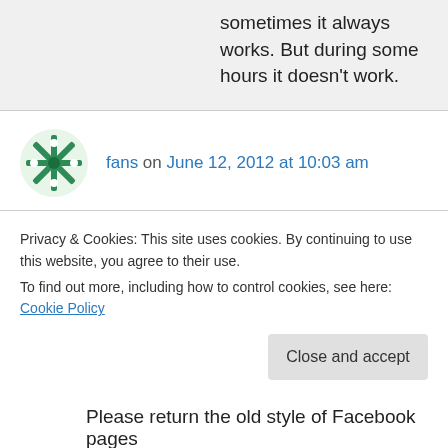sometimes it always works. But during some hours it doesn't work.
fans on June 12, 2012 at 10:03 am
hello,is there any chance of getting unlimited twitter accounts as currently only 5 can be added maximum and then the account is of no use for lot of us…then use a proxy and make new account etc etc…so will that be possible?
Privacy & Cookies: This site uses cookies. By continuing to use this website, you agree to their use.
To find out more, including how to control cookies, see here: Cookie Policy
Close and accept
Please return the old style of Facebook pages